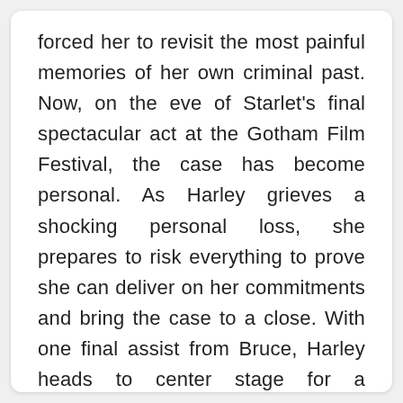forced her to revisit the most painful memories of her own criminal past. Now, on the eve of Starlet's final spectacular act at the Gotham Film Festival, the case has become personal. As Harley grieves a shocking personal loss, she prepares to risk everything to prove she can deliver on her commitments and bring the case to a close. With one final assist from Bruce, Harley heads to center stage for a showdown that will make or break Gotham's future-and determine Harley's role within it.